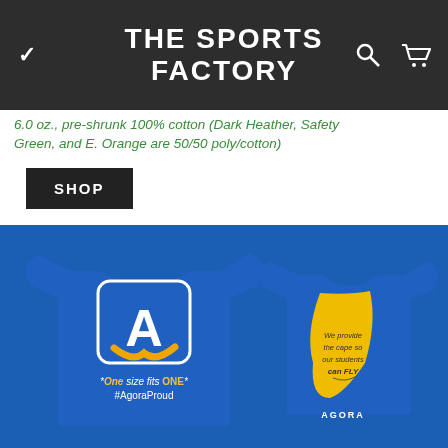THE SPORTS FACTORY
6.0 oz., pre-shrunk 100% cotton (Dark Heather, Safety Green, and E. Orange are 50/50 poly/cotton)
SHOP
[Figure (photo): Two royal blue t-shirts on display. Front shirt shows an 'A' logo in a rounded square with a gold checkmark beneath, text reads '*One size fits ONE* #AgoraProud'. Back shirt shows a yellow cape design with text 'We provide the cape so our students can FLY' and AGORA branding.]